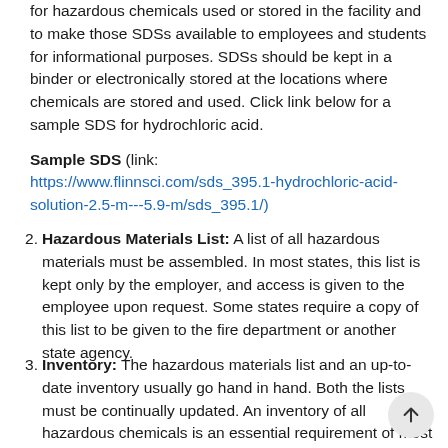for hazardous chemicals used or stored in the facility and to make those SDSs available to employees and students for informational purposes. SDSs should be kept in a binder or electronically stored at the locations where chemicals are stored and used. Click link below for a sample SDS for hydrochloric acid.
Sample SDS (link: https://www.flinnsci.com/sds_395.1-hydrochloric-acid-solution-2.5-m---5.9-m/sds_395.1/)
2. Hazardous Materials List: A list of all hazardous materials must be assembled. In most states, this list is kept only by the employer, and access is given to the employee upon request. Some states require a copy of this list to be given to the fire department or another state agency.
3. Inventory: The hazardous materials list and an up-to-date inventory usually go hand in hand. Both the lists must be continually updated. An inventory of all hazardous chemicals is an essential requirement of most Right-to-Know